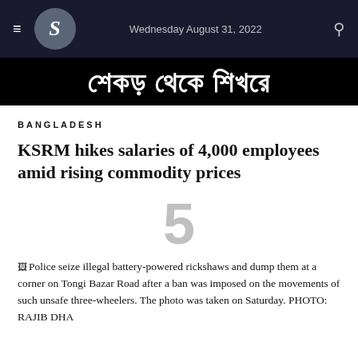Wednesday August 31, 2022
[Figure (illustration): Bengali text title banner on black background reading: শেকড় থেকে শিখরে]
BANGLADESH
KSRM hikes salaries of 4,000 employees amid rising commodity prices
[Figure (other): Large grey numeral 5, likely an advertisement or section number placeholder]
Police seize illegal battery-powered rickshaws and dump them at a corner on Tongi Bazar Road after a ban was imposed on the movements of such unsafe three-wheelers. The photo was taken on Saturday. PHOTO: RAJIB DHA